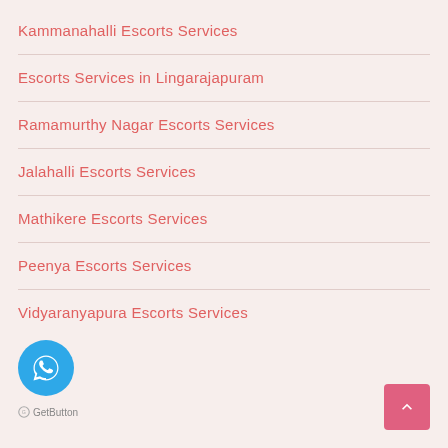Kammanahalli Escorts Services
Escorts Services in Lingarajapuram
Ramamurthy Nagar Escorts Services
Jalahalli Escorts Services
Mathikere Escorts Services
Peenya Escorts Services
Vidyaranyapura Escorts Services